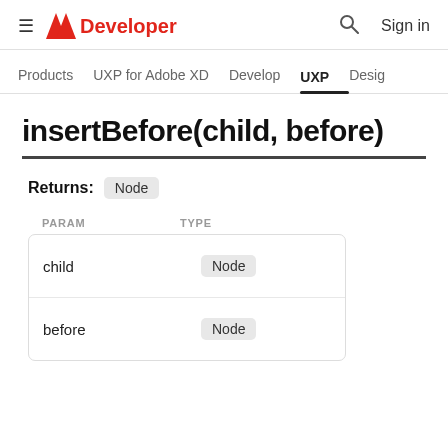≡ Adobe Developer  🔍 Sign in
Products  UXP for Adobe XD  Develop  UXP  Design
insertBefore(child, before)
Returns: Node
| PARAM | TYPE |
| --- | --- |
| child | Node |
| before | Node |